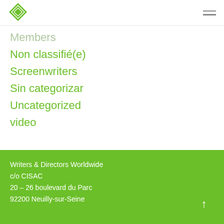[Figure (logo): Green diamond-shaped logo for Writers & Directors Worldwide (CISAC)]
Members
Non classifié(e)
Screenwriters
Sin categorizar
Uncategorized
video
Writers & Directors Worldwide
c/o CISAC
20 – 26 boulevard du Parc
92200 Neuilly-sur-Seine